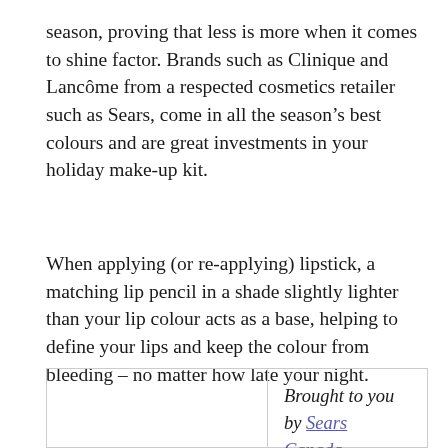season, proving that less is more when it comes to shine factor. Brands such as Clinique and Lancôme from a respected cosmetics retailer such as Sears, come in all the season's best colours and are great investments in your holiday make-up kit.
When applying (or re-applying) lipstick, a matching lip pencil in a shade slightly lighter than your lip colour acts as a base, helping to define your lips and keep the colour from bleeding – no matter how late your night.
Brought to you by Sears Canada.